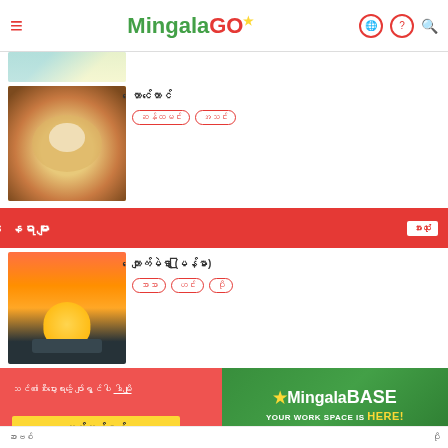MingalaGO
[Figure (photo): Cropped food photo at top, partially visible]
[Figure (photo): Bowl of ramen/noodle soup with egg, Myanmar food]
Myanmar script restaurant name
Tag 1, Tag 2 (Myanmar script tags)
Myanmar script section header with 'see more' button
[Figure (photo): Golden Rock (Kyaiktiyo Pagoda) at sunset, Myanmar landmark]
Myanmar script listing title with (EN) label
Tag 1, Tag 2, Tag 3 (Myanmar script tags)
[Figure (infographic): MingalaBASE coworking space advertisement banner - green background, YOUR WORK SPACE IS HERE!]
Myanmar script promotional text with link
Myanmar script button label
Myanmar script footer text left and right